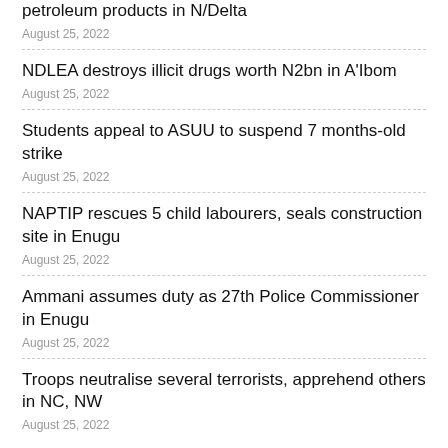petroleum products in N/Delta
August 25, 2022
NDLEA destroys illicit drugs worth N2bn in A'Ibom
August 25, 2022
Students appeal to ASUU to suspend 7 months-old strike
August 25, 2022
NAPTIP rescues 5 child labourers, seals construction site in Enugu
August 25, 2022
Ammani assumes duty as 27th Police Commissioner in Enugu
August 25, 2022
Troops neutralise several terrorists, apprehend others in NC, NW
August 25, 2022